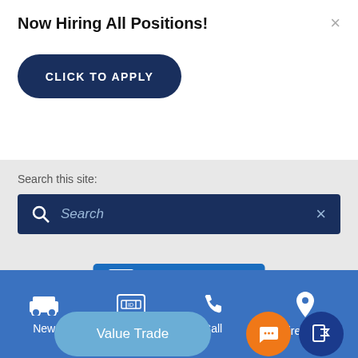Now Hiring All Positions!
[Figure (screenshot): Click to Apply button - dark navy rounded rectangle button with white uppercase text 'CLICK TO APPLY']
Search this site:
[Figure (screenshot): Search bar with dark navy background, magnifying glass icon on left, italic placeholder text 'Search', and X close icon on right]
[Figure (logo): Verified Customer Reviews badge - blue rectangle with checkmark icon and bold text 'VERIFIED CUSTOMER REVIEWS']
Next-Generation Engine 6 Custom Dealer Website powered by DealerFire. Part of the DealerSocket portfolio of advanced technology products. Copyright © Coastal Hyundai | Privacy | Accessibility
Sitemap
[Figure (screenshot): Value Trade floating button - light blue rounded pill button with white text 'Value Trade']
[Figure (screenshot): Orange circular chat button with speech bubble icon]
[Figure (screenshot): Dark blue circular button with phone/message icon]
[Figure (screenshot): Bottom navigation bar with four items: New (car icon), Used (license plate icon), Call (phone icon), Directions (map pin icon)]